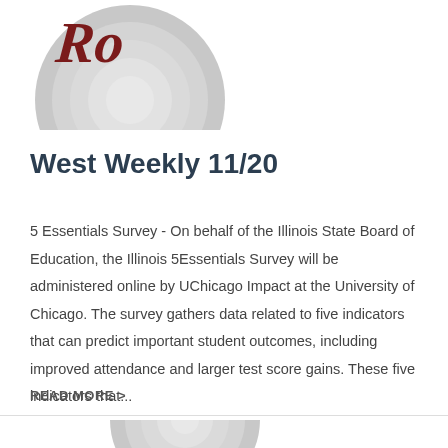[Figure (logo): Partial circular logo with dark red stylized text 'Ro...' and concentric gray circles]
West Weekly 11/20
5 Essentials Survey - On behalf of the Illinois State Board of Education, the Illinois 5Essentials Survey will be administered online by UChicago Impact at the University of Chicago. The survey gathers data related to five indicators that can predict important student outcomes, including improved attendance and larger test score gains. These five indicators that...
READ MORE >
[Figure (logo): Partial circular gray logo, bottom portion visible]